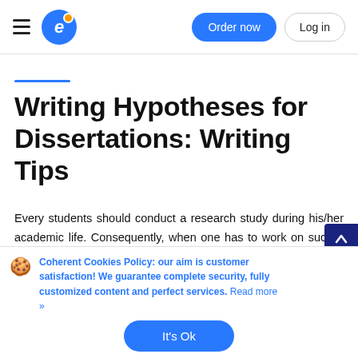Order now  Log in
Writing Hypotheses for Dissertations: Writing Tips
Every students should conduct a research study during his/her academic life. Consequently, when one has to work on such a complex task as dissertation or thesis, he/she has to possess good writing skills, proper knowledge of the selected topic. In addition, it is important to know how to carry out the research, choose
Coherent Cookies Policy: our aim is customer satisfaction! We guarantee complete security, fully customized content and perfect services. Read more »
It's Ok